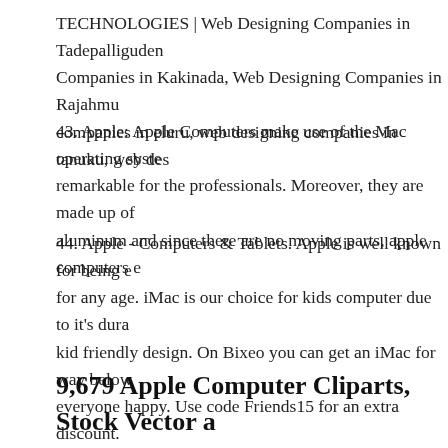TECHNOLOGIES | Web Designing Companies in Tadepalliguden Companies in Kakinada, Web Designing Companies in Rajahmund companies in eluru, web designing companies in tanuku, web des...
43. Apple: Apple Computers make use of the Mac operating system remarkable for the professionals. Moreover, they are made up of a aluminum and since there are no moving parts, apple computers e...
44. Apple - Computers & Tablets. Apple is well known for being e for any age. iMac is our choice for kids computer due to it's durab kid friendly design. On Bixeo you can get an iMac for way below everyone happy. Use code Friends15 for an extra discount.
9,679 Apple Computer Cliparts, Stock Vector a Free Apple...